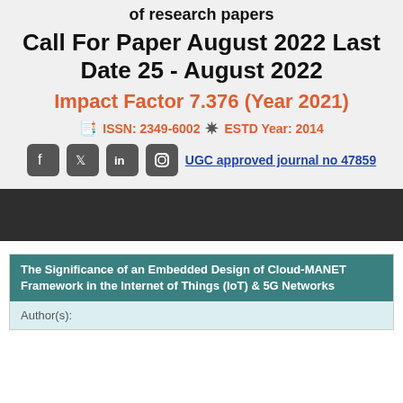of research papers
Call For Paper August 2022 Last Date 25 - August 2022
Impact Factor 7.376 (Year 2021)
ISSN: 2349-6002  ESTD Year: 2014
UGC approved journal no 47859
The Significance of an Embedded Design of Cloud-MANET Framework in the Internet of Things (IoT) & 5G Networks
Author(s):